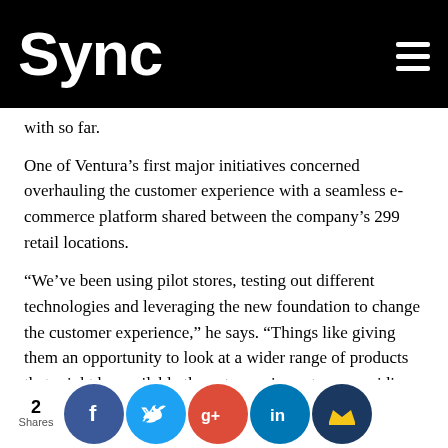Sync
with so far.
One of Ventura’s first major initiatives concerned overhauling the customer experience with a seamless e-commerce platform shared between the company’s 299 retail locations.
“We’ve been using pilot stores, testing out different technologies and leveraging the new foundation to change the customer experience,” he says. “Things like giving them an opportunity to look at a wider range of products that might be available than at any given store, providing associates at stores with iPads or devices to give them a selection of products they can offer customers beyond what is existing in front of them in inventory, and not be limited by the brick-and-mortar
2 Shares · [social share buttons: Facebook, Twitter, Google+, LinkedIn, King]